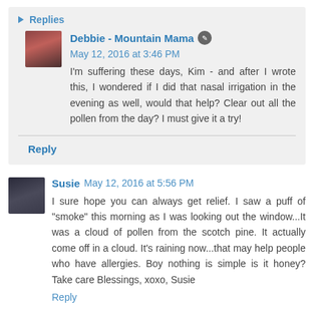Replies
Debbie - Mountain Mama  May 12, 2016 at 3:46 PM
I'm suffering these days, Kim - and after I wrote this, I wondered if I did that nasal irrigation in the evening as well, would that help? Clear out all the pollen from the day? I must give it a try!
Reply
Susie  May 12, 2016 at 5:56 PM
I sure hope you can always get relief. I saw a puff of "smoke" this morning as I was looking out the window...It was a cloud of pollen from the scotch pine. It actually come off in a cloud. It's raining now...that may help people who have allergies. Boy nothing is simple is it honey? Take care Blessings, xoxo, Susie
Reply